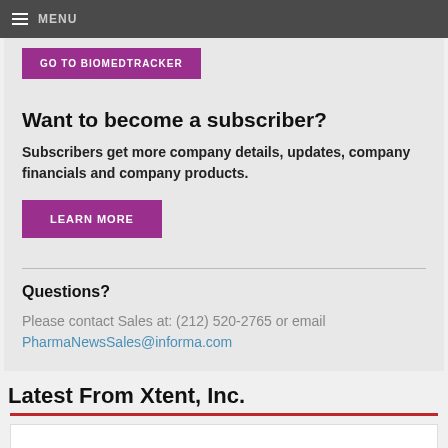MENU
[Figure (other): GO TO BIOMEDTRACKER button in purple/magenta]
Want to become a subscriber?
Subscribers get more company details, updates, company financials and company products.
[Figure (other): LEARN MORE button in purple/magenta]
Questions?
Please contact Sales at: (212) 520-2765 or email PharmaNewsSales@informa.com
Latest From Xtent, Inc.